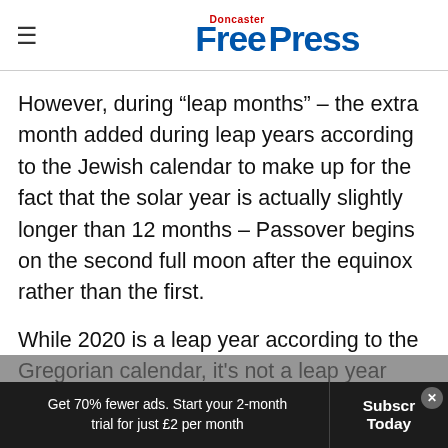Doncaster Free Press
However, during “leap months” – the extra month added during leap years according to the Jewish calendar to make up for the fact that the solar year is actually slightly longer than 12 months – Passover begins on the second full moon after the equinox rather than the first.
While 2020 is a leap year according to the Gregorian calendar, it's not a leap year according to the Jewish calendar...
Get 70% fewer ads. Start your 2-month trial for just £2 per month  |  Subscribe Today